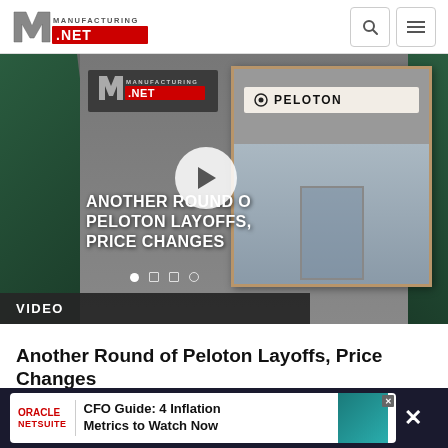Manufacturing.net
[Figure (screenshot): Video thumbnail for 'Another Round of Peloton Layoffs, Price Changes' showing Manufacturing logo overlay and Peloton store front with play button]
VIDEO
Another Round of Peloton Layoffs, Price Changes
The move was made to "become more efficient, cost-effective and agile."
August
[Figure (infographic): Oracle NetSuite advertisement: CFO Guide: 4 Inflation Metrics to Watch Now]